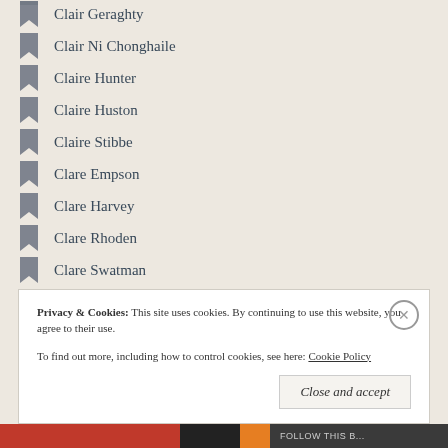Clair Geraghty
Clair Ni Chonghaile
Claire Hunter
Claire Huston
Claire Stibbe
Clare Empson
Clare Harvey
Clare Rhoden
Clare Swatman
Clare Whitfield
Clifford Witting
Craig Melvin
Cressida McLaughlin
Privacy & Cookies: This site uses cookies. By continuing to use this website, you agree to their use. To find out more, including how to control cookies, see here: Cookie Policy
Close and accept